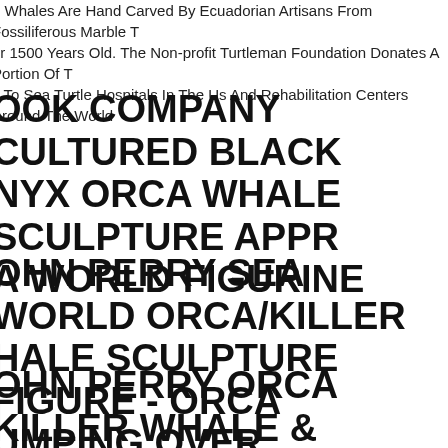e Whales Are Hand Carved By Ecuadorian Artisans From Fossiliferous Marble T er 1500 Years Old. The Non-profit Turtleman Foundation Donates A Portion Of T s To Sea Turtle Hospitals In The Us And Rehabilitation Centers Around The World
OOK COMPANY CULTURED BLACK NYX ORCA WHALE SCULPTURE APPR A WORLD FIGURINE
OHN PERRY SEA WORLD ORCA/KILLER HALE SCULPTURE FIGURE - ORCA UMPING OVER
OHN PERRY ORCA KILLER WHALE & ABY SCULPTURE BURL WOOD BASE ARINE COLLECTIBLE